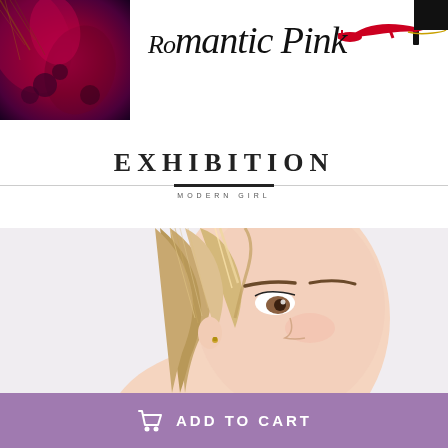[Figure (photo): Red silk scarf/fabric with dark floral pattern on left side of top banner]
[Figure (photo): Red high heel shoe with chain detail on upper right of top banner]
Romantic Pink
EXHIBITION
MODERN GIRL
[Figure (photo): Close-up portrait of a blonde female model with subtle makeup looking upward, light background]
[Figure (other): Add to Cart button with shopping cart icon, purple/mauve background, white text reading ADD TO CART]